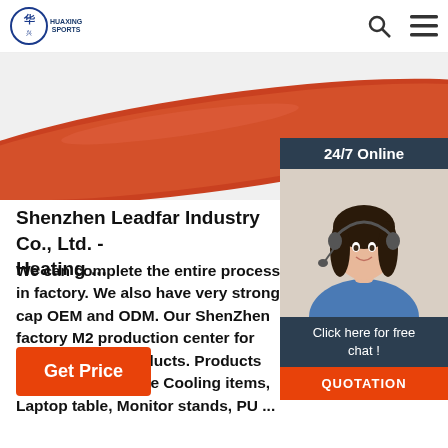HUAXING SPORTS
[Figure (photo): Red/orange elongated product (possibly sports equipment handle or foam roller) on white background]
[Figure (photo): 24/7 Online chat widget with woman wearing headset smiling, dark background with 'Click here for free chat!' and orange QUOTATION button]
Shenzhen Leadfar Industry Co., Ltd. - Heating ...
We can complete the entire process in factory. We also have very strong cap OEM and ODM. Our ShenZhen factory M2 production center for electrical and products. Products range: Electrical he Cooling items, Laptop table, Monitor stands, PU ...
Get Price